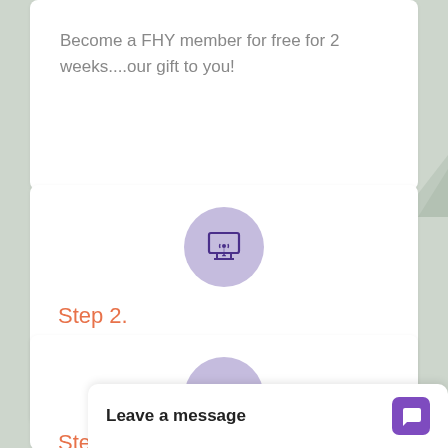Become a FHY member for free for 2 weeks....our gift to you!
[Figure (illustration): Purple circle icon with a hand touching/clicking a screen or tablet, representing online interaction or sign-up]
Step 2.
Choose what type of FHY membership is the best fit for you and join.
[Figure (illustration): Purple circle icon with an open envelope/mail icon, representing email or messaging]
Step 3.
Leave a message